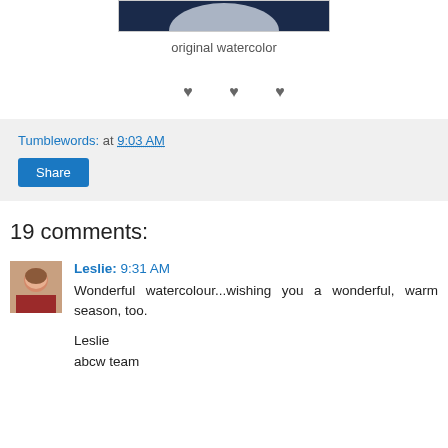[Figure (photo): Top portion of a watercolor painting image, dark blue background, partially visible]
original watercolor
♥ ♥ ♥
Tumblewords: at 9:03 AM
Share
19 comments:
[Figure (photo): Avatar photo of Leslie, a woman with reddish hair wearing a red top]
Leslie: 9:31 AM
Wonderful watercolour...wishing you a wonderful, warm season, too.

Leslie
abcw team